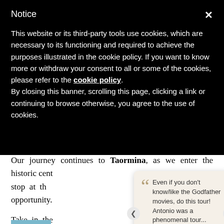Notice
This website or its third-party tools use cookies, which are necessary to its functioning and required to achieve the purposes illustrated in the cookie policy. If you want to know more or withdraw your consent to all or some of the cookies, please refer to the cookie policy. By closing this banner, scrolling this page, clicking a link or continuing to browse otherwise, you agree to the use of cookies.
Our journey continues to Taormina, as we enter the historic cent… ve stop at th… to opportunity.
Take in the … lla “beautiful isla…
[Figure (screenshot): Tripadvisor review card overlay showing quote: 'Even if you don't know/like the Godfather movies, do this tour! Antonio was a phenomenal tour...' with 5 stars, reviewer tpmaxwell2 and view post link]